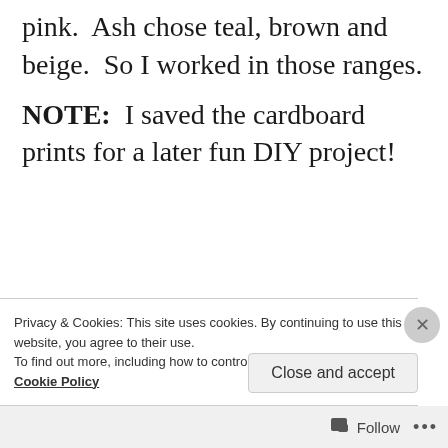pink.  Ash chose teal, brown and beige.  So I worked in those ranges.
NOTE:  I saved the cardboard prints for a later fun DIY project!
Privacy & Cookies: This site uses cookies. By continuing to use this website, you agree to their use.
To find out more, including how to control cookies, see here: Cookie Policy
Close and accept
Follow